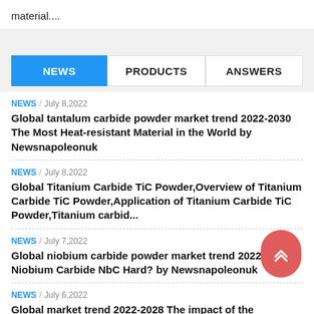material....
NEWS | PRODUCTS | ANSWERS
NEWS / July 8,2022 — Global tantalum carbide powder market trend 2022-2030 The Most Heat-resistant Material in the World by Newsnapoleonuk
NEWS / July 8,2022 — Global Titanium Carbide TiC Powder,Overview of Titanium Carbide TiC Powder,Application of Titanium Carbide TiC Powder,Titanium carbid...
NEWS / July 7,2022 — Global niobium carbide powder market trend 2022-2029 Is Niobium Carbide NbC Hard? by Newsnapoleonuk
NEWS / July 6,2022 — Global market trend 2022-2028 The impact of the international oil price